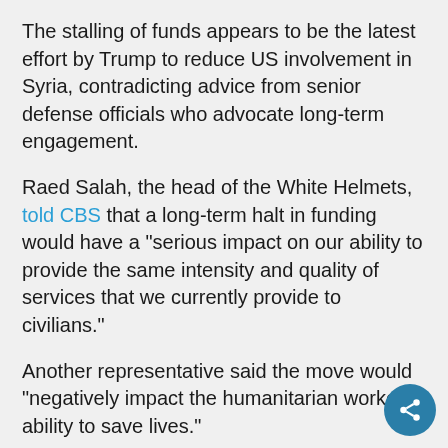The stalling of funds appears to be the latest effort by Trump to reduce US involvement in Syria, contradicting advice from senior defense officials who advocate long-term engagement.
Raed Salah, the head of the White Helmets, told CBS that a long-term halt in funding would have a "serious impact on our ability to provide the same intensity and quality of services that we currently provide to civilians."
Another representative said the move would "negatively impact the humanitarian workers ability to save lives."
Related: Chemical attack in Syria grabs Trump attention, but he has few options available